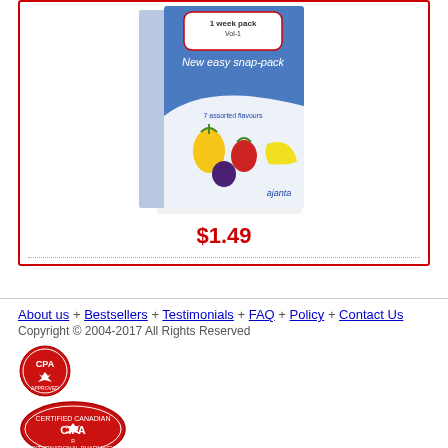[Figure (photo): Product box - 1 week pack Vol-1, New easy snap-pack, 7 assorted flavours, Ajanta brand, with fruit images on packaging]
$1.49
About us + Bestsellers + Testimonials + FAQ + Policy + Contact Us
Copyright © 2004-2017 All Rights Reserved
[Figure (logo): CPA certification logo - red circular badge with maple leaf]
[Figure (logo): CIPAR Certified Canadian International Pharmacy logo - red circular badge]
[Figure (logo): SafePharm or similar green seal certification badge]
[Figure (logo): MIPA Manitoba International Pharmacists Association logo with maple leaf star]
[Figure (logo): Payment methods: VISA, MasterCard, AMEX]